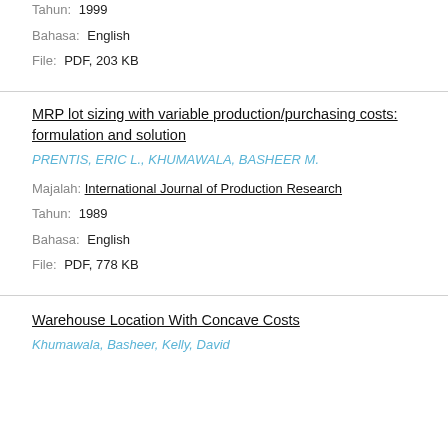Tahun: 1999
Bahasa: English
File: PDF, 203 KB
MRP lot sizing with variable production/purchasing costs: formulation and solution
PRENTIS, ERIC L., KHUMAWALA, BASHEER M.
Majalah: International Journal of Production Research
Tahun: 1989
Bahasa: English
File: PDF, 778 KB
Warehouse Location With Concave Costs
Khumawala, Basheer, Kelly, David